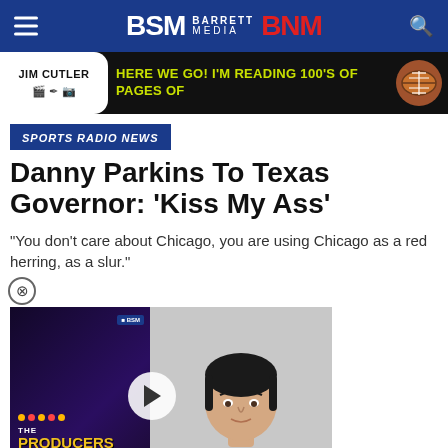BSM BARRETT MEDIA BNM
[Figure (other): Jim Cutler advertisement banner: HERE WE GO! I'M READING 100'S OF PAGES OF]
SPORTS RADIO NEWS
Danny Parkins To Texas Governor: 'Kiss My Ass'
"You don't care about Chicago, you are using Chicago as a red herring, as a slur."
[Figure (screenshot): Video thumbnail of The Producers Podcast with a man in a black jacket, with play button overlay and chevron down indicator]
on May 26, 2022